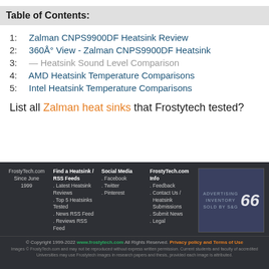Table of Contents:
1:  Zalman CNPS9900DF Heatsink Review
2:  360Å° View - Zalman CNPS9900DF Heatsink
3:  — Heatsink Sound Level Comparison
4:  AMD Heatsink Temperature Comparisons
5:  Intel Heatsink Temperature Comparisons
List all Zalman heat sinks that Frostytech tested?
FrostyTech.com Since June 1999 | Find a Heatsink / RSS Feeds: Latest Heatsink Reviews, Top 5 Heatsinks Tested, News RSS Feed, Reviews RSS Feed | Social Media: Facebook, Twitter, Pinterest | FrostyTech.com Info: Feedback, Contact Us / Heatsink Submissions, Submit News, Legal | © Copyright 1999-2022 www.frostytech.com All Rights Reserved. Privacy policy and Terms of Use | Images © FrostyTech.com and may not be reproduced without express written permission. Current students and faculty of accredited Universities may use Frostytech images in research papers and thesis, provided each image is attributed.